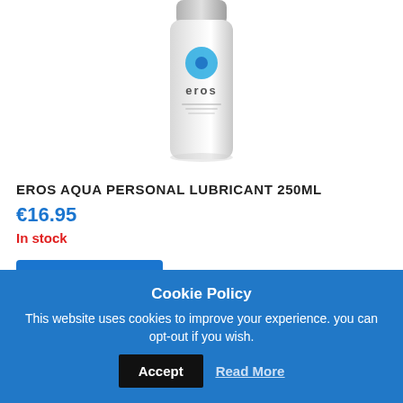[Figure (photo): Product photo of Eros Aqua personal lubricant 250ml bottle, a clear/white cylindrical bottle with blue circular logo and teal accent, partially cropped at top]
EROS AQUA PERSONAL LUBRICANT 250ML
€16.95
In stock
Add to cart
Cookie Policy
This website uses cookies to improve your experience. you can opt-out if you wish.
Accept
Read More